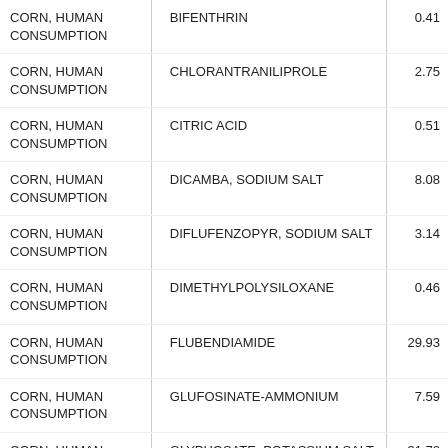| Crop | Chemical | Value |
| --- | --- | --- |
| CORN, HUMAN CONSUMPTION | BIFENTHRIN | 0.41 |
| CORN, HUMAN CONSUMPTION | CHLORANTRANILIPROLE | 2.75 |
| CORN, HUMAN CONSUMPTION | CITRIC ACID | 0.51 |
| CORN, HUMAN CONSUMPTION | DICAMBA, SODIUM SALT | 8.08 |
| CORN, HUMAN CONSUMPTION | DIFLUFENZOPYR, SODIUM SALT | 3.14 |
| CORN, HUMAN CONSUMPTION | DIMETHYLPOLYSILOXANE | 0.46 |
| CORN, HUMAN CONSUMPTION | FLUBENDIAMIDE | 29.93 |
| CORN, HUMAN CONSUMPTION | GLUFOSINATE-AMMONIUM | 7.59 |
| CORN, HUMAN CONSUMPTION | GLYPHOSATE, POTASSIUM SALT | 31.72 |
| CORN, HUMAN CONSUMPTION | HALOSULFURON-METHYL | 1.08 |
| CORN, HUMAN |  |  |